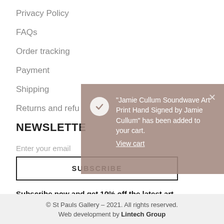Privacy Policy
FAQs
Order tracking
Payment
Shipping
Returns and refu…
NEWSLETTER
Enter your email
SUBSCRIBE
Subscribe now and get 10% off the latest art collection!
[Figure (screenshot): Toast notification popup with checkmark icon saying: "Jamie Cullum Soundwave Art Print Hand Signed by Jamie Cullum" has been added to your cart. View cart]
© St Pauls Gallery – 2021. All rights reserved.
Web development by Lintech Group